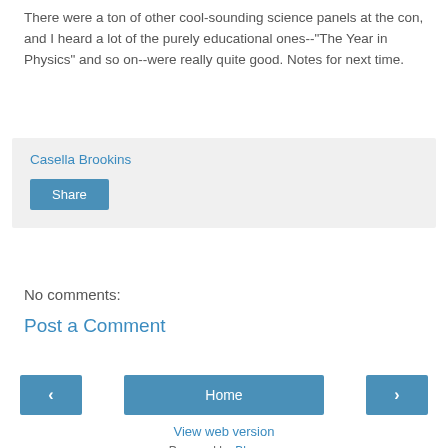There were a ton of other cool-sounding science panels at the con, and I heard a lot of the purely educational ones--"The Year in Physics" and so on--were really quite good. Notes for next time.
Casella Brookins
Share
No comments:
Post a Comment
‹
Home
›
View web version
Powered by Blogger.